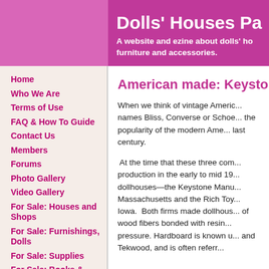Dolls' Houses Pa... A website and ezine about dolls' ho... furniture and accessories.
Home
Who We Are
Terms of Use
FAQ & How To Guide
Contact Us
Members
Forums
Photo Gallery
Video Gallery
For Sale: Houses and Shops
For Sale: Furnishings, Dolls
For Sale: Supplies
For Sale: Books & Mags
Items wanted by members
Mystery Houses 2009-2013
Mystery Houses 2, 2014 -
American made:  Keystone...
When we think of vintage Americ... names Bliss, Converse or Schoe... the popularity of the modern Am... last century.
At the time that these three com... production in the early to mid 19... dollhouses—the Keystone Manu... Massachusetts and the Rich Toy... Iowa.  Both firms made dollhous... of wood fibers bonded with resin... pressure. Hardboard is known u... and Tekwood, and is often referr...